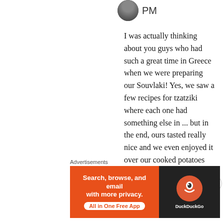[Figure (photo): Circular avatar photo of a person, dark background]
PM
I was actually thinking about you guys who had such a great time in Greece when we were preparing our Souvlaki! Yes, we saw a few recipes for tzatziki where each one had something else in ... but in the end, ours tasted really nice and we even enjoyed it over our cooked potatoes the next day as well. Maybe you can do a few Egyptian and Tunisian
Advertisements
[Figure (screenshot): DuckDuckGo advertisement banner: orange background with text 'Search, browse, and email with more privacy. All in One Free App' and DuckDuckGo logo on dark right panel]